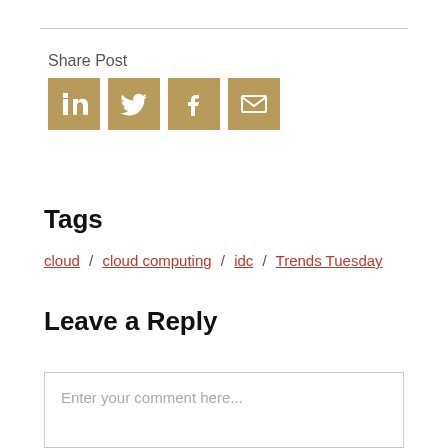Share Post
[Figure (infographic): Social share icons for LinkedIn, Twitter, Facebook, and Email, rendered as gold/tan square buttons with white icons]
Tags
cloud / cloud computing / idc / Trends Tuesday
Leave a Reply
Enter your comment here...